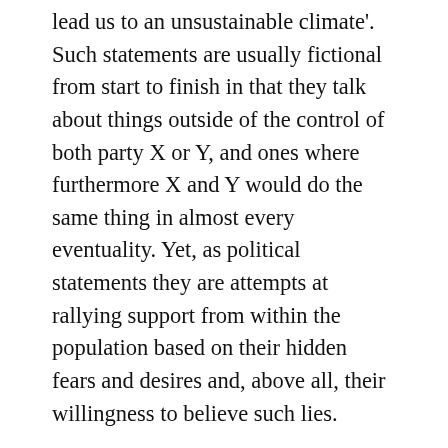lead us to an unsustainable climate'. Such statements are usually fictional from start to finish in that they talk about things outside of the control of both party X or Y, and ones where furthermore X and Y would do the same thing in almost every eventuality. Yet, as political statements they are attempts at rallying support from within the population based on their hidden fears and desires and, above all, their willingness to believe such lies.
If you are good at reading the hidden desires and proclivities of your population, you win elections and thus ensure you and your party thousands of cushy jobs and all the associated trappings of power. The competitive nature of politics further...